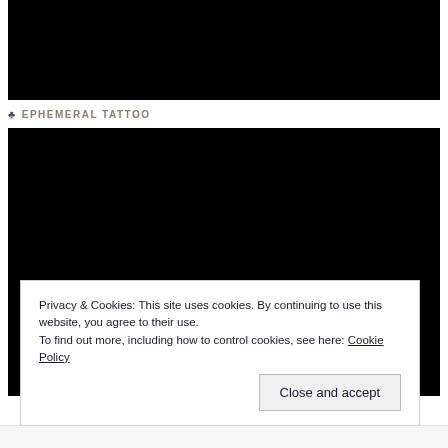[Figure (photo): Top dark/black image strip, partially visible]
♣ EPHEMERAL TATTOO
[Figure (photo): Large black image with white bold text 'EPHEMERAL' at the bottom left with a partial bracket character before it]
Privacy & Cookies: This site uses cookies. By continuing to use this website, you agree to their use.
To find out more, including how to control cookies, see here: Cookie Policy
Close and accept